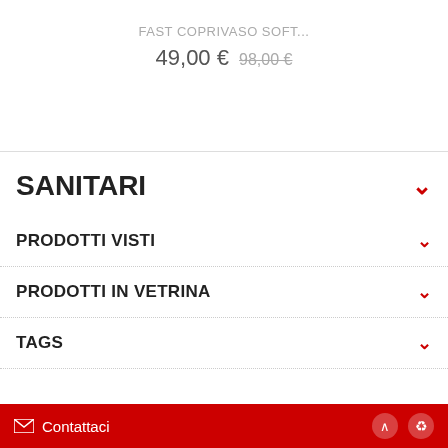FAST COPRIVASO SOFT...
49,00 € 98,00 €
SANITARI
PRODOTTI VISTI
PRODOTTI IN VETRINA
TAGS
Contattaci